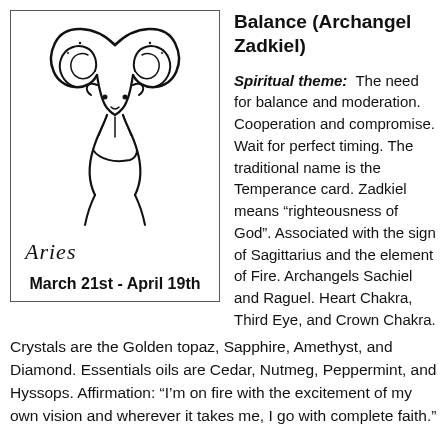[Figure (illustration): Black and white line drawing of an Aries ram zodiac symbol with curling horns, inside a bordered box with the italic text 'Aries' below it]
March 21st - April 19th
Balance (Archangel Zadkiel)
Spiritual theme:  The need for balance and moderation.  Cooperation and compromise.  Wait for perfect timing.  The traditional name is the Temperance card.  Zadkiel means "righteousness of God".  Associated with the sign of Sagittarius and the element of Fire.  Archangels Sachiel and Raguel.  Heart Chakra, Third Eye, and Crown Chakra.  Crystals are the Golden topaz, Sapphire, Amethyst, and Diamond.  Essentials oils are Cedar, Nutmeg, Peppermint, and Hyssops. Affirmation: "I'm on fire with the excitement of my own vision and wherever it takes me, I go with complete faith."